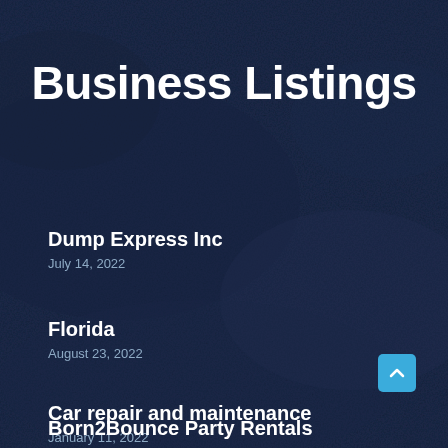Business Listings
Dump Express Inc
July 14, 2022
Florida
August 23, 2022
Car repair and maintenance
January 11, 2022
Born2Bounce Party Rentals